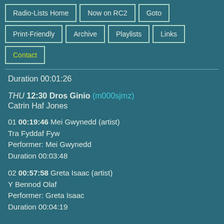Radio-Lists Home
Now on RC2
Goto
Print-Friendly
Archive
Playlists
Links
Contact
Duration 00:01:26
THU 12:30 Dros Ginio (m000sjmz)
Catrin Haf Jones
01 00:19:46 Mei Gwynedd (artist)
Tra Fyddaf Fyw
Performer: Mei Gwynedd
Duration 00:03:48
02 00:57:58 Greta Isaac (artist)
Y Bennod Olaf
Performer: Greta Isaac
Duration 00:04:19